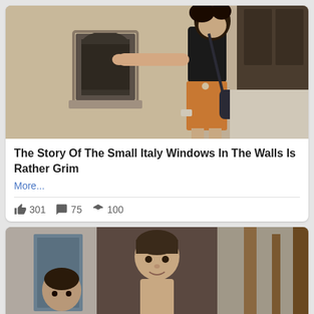[Figure (photo): Woman in black top and orange skirt pointing at a small arched window embedded in a stone wall in Italy]
The Story Of The Small Italy Windows In The Walls Is Rather Grim
More...
301  75  100
[Figure (photo): Young boy with dark hair standing shirtless indoors, smiling at camera, with another child partially visible in background]